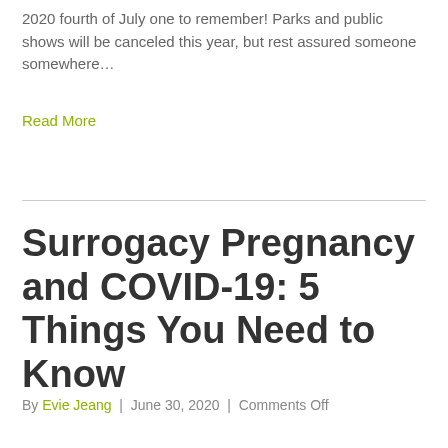2020 fourth of July one to remember! Parks and public shows will be canceled this year, but rest assured someone somewhere…
Read More
Surrogacy Pregnancy and COVID-19: 5 Things You Need to Know
By Evie Jeang | June 30, 2020 | Comments Off